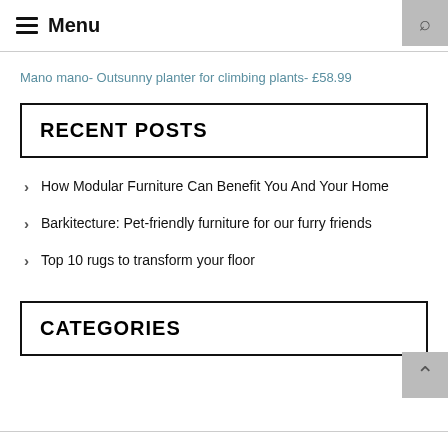≡ Menu
Mano mano- Outsunny planter for climbing plants- £58.99
RECENT POSTS
How Modular Furniture Can Benefit You And Your Home
Barkitecture: Pet-friendly furniture for our furry friends
Top 10 rugs to transform your floor
CATEGORIES